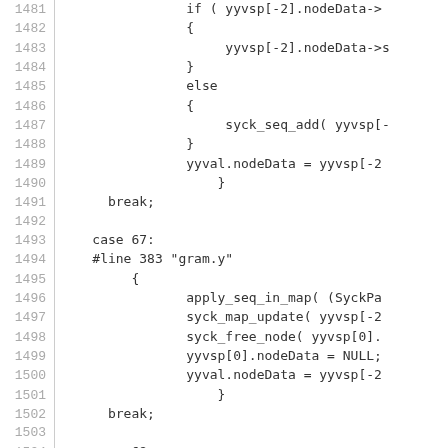Source code listing lines 1481-1510 showing C/yacc parser code with case statements 67 and 68
[Figure (screenshot): Code listing showing lines 1481-1510 of a C/yacc grammar file with line numbers on the left, containing if/else blocks, break statements, case 67 with #line 383 gram.y, and case 68 with #line 391 gram.y]